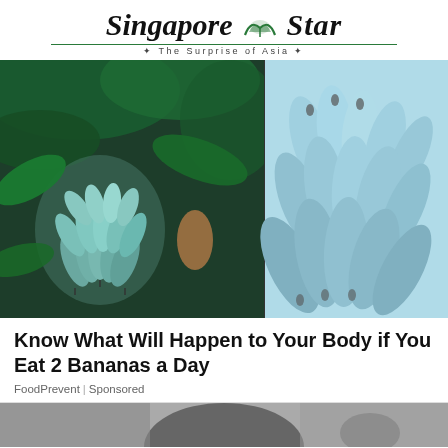Singapore Star — The Surprise of Asia
[Figure (photo): Two photos of blue bananas side by side: left photo shows blue/teal-colored banana bunch on a tree with tropical foliage; right photo shows a close-up of a cluster of pale blue bananas.]
Know What Will Happen to Your Body if You Eat 2 Bananas a Day
FoodPrevent | Sponsored
[Figure (photo): Partial view of a second article image showing a person in black and white or dark tones, cropped at bottom of page.]